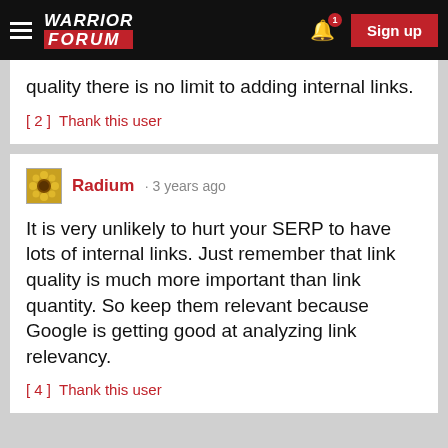WARRIOR FORUM
quality there is no limit to adding internal links.
[ 2 ]  Thank this user
Radium · 3 years ago
It is very unlikely to hurt your SERP to have lots of internal links. Just remember that link quality is much more important than link quantity. So keep them relevant because Google is getting good at analyzing link relevancy.
[ 4 ]  Thank this user